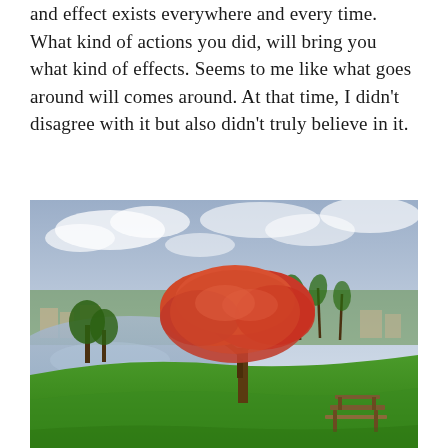and effect exists everywhere and every time. What kind of actions you did, will bring you what kind of effects. Seems to me like what goes around will comes around. At that time, I didn't disagree with it but also didn't truly believe in it.
[Figure (photo): A scenic park landscape with a large flowering tree with red/orange blossoms, a calm pond or lake to the left reflecting the sky, lush green grass, palm trees and buildings in the background, and a wooden bench in the foreground right. Overcast sky with clouds.]